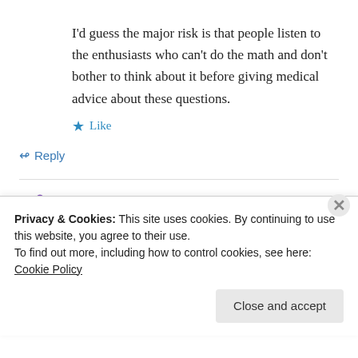I'd guess the major risk is that people listen to the enthusiasts who can't do the math and don't bother to think about it before giving medical advice about these questions.
★ Like
↪ Reply
harrywr2 on 9 April 2011 at 12:03 AM
[Comment deleted Violation of the citation rule
Privacy & Cookies: This site uses cookies. By continuing to use this website, you agree to their use.
To find out more, including how to control cookies, see here: Cookie Policy
Close and accept